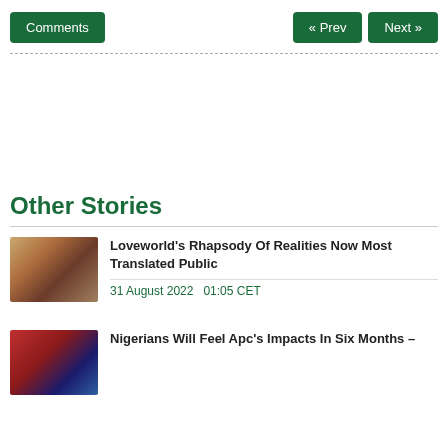Comments
« Prev
Next »
Other Stories
[Figure (photo): Thumbnail photo for Loveworld's Rhapsody Of Realities story]
Loveworld's Rhapsody Of Realities Now Most Translated Public
31 August 2022   01:05 CET
[Figure (photo): Thumbnail photo for Nigerians Will Feel Apc's Impacts In Six Months story]
Nigerians Will Feel Apc's Impacts In Six Months –